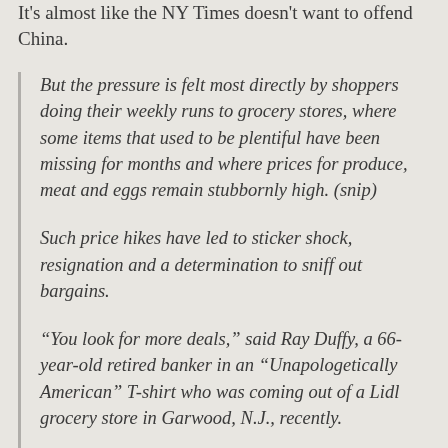It's almost like the NY Times doesn't want to offend China.
But the pressure is felt most directly by shoppers doing their weekly runs to grocery stores, where some items that used to be plentiful have been missing for months and where prices for produce, meat and eggs remain stubbornly high. (snip)
Such price hikes have led to sticker shock, resignation and a determination to sniff out bargains.
“You look for more deals,” said Ray Duffy, a 66-year-old retired banker in an “Unapologetically American” T-shirt who was coming out of a Lidl grocery store in Garwood, N.J., recently.